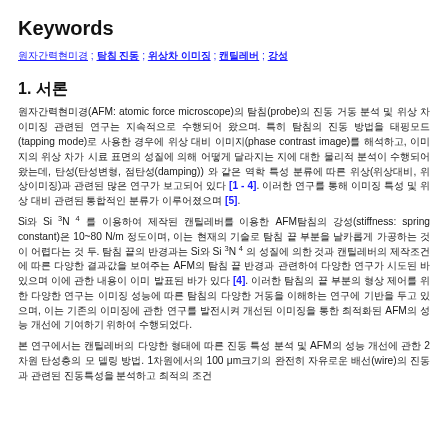Keywords
원자간력현미경; 탐침 진동; 위상차 이미징; 캔틸레버; 강성
1. 서론
원자간력현미경(AFM: atomic force microscope)의 탐침(probe)의 진동 거동 분석 및 위상 차 이미징 관련된 연구는 지속적으로 수행되어 왔으며. 특히 탐침의 진동 방법을 태핑모드(tapping mode)로 사용한 경우에 위상 대비 이미지(phase contrast image)를 해석하고, 이미지의 위상 차가 시료 표면의 성질에 의해 어떻게 달라지는 지에 대한 물리적 분석이 수행되어 왔는데, 탄성(탄성변형, 점탄성(damping)) 와 같은 역학 특성 분류에 따른 위상( 위상대비, 위상이미징)과 관련된 많은 연구가 보고되어 있다 [1 - 4]. 이러한 연구를 통해 이미징 특성 빛 위상 대비 관련된 통합적인 분류가 이루어졌으며 [5].
Si와 Si 3N 4 를 이용하여 제작된 캔틸레버를 이용한 AFM탐침의 강성(stiffness: spring constant)은 10~80 N/m 정도이며, 이는 현재의 기술로 탐침 끝 부분을 날카롭게 가공하는 것이 어렵다는 것 두. 탐침 끝의 반경과는 Si와 Si 3N 4 의 성질에 의한 것과 캔틸레버의 제작조건에 따른 다양한 결과값을 보여주는 AFM의 탐침 끝 반경과 관련하여 다양한 연구가 시도된 바 있으며 이에 관한 내용이 이미 발표된 바가 있다 [4]. 이러한 탐침의 끝 부분의 형상 제어를 위한 다양한 연구는 이미징 성능에 따른 탐침의 다양한 거동을 이해하는 연구에 기반을 두고 있으며, 이는 기존의 이미징에 관한 연구를 발전시켜 개선된 이미징을 통한 최적화된 AFM의 성능 개선에 기여하기 위하여 수행되었다.
본 연구에서는 캔틸레버의 다양한 형태에 따른 진동 특성 분석 및 AFM의 성능 개선에 관한 2차원 탄성층의 모 델링 방법. 1차원에서의 100 μm크기의 완전히 자유로운 배선(wire)의 진동과 관련된 진동특성을 분석하고 최적의 조건